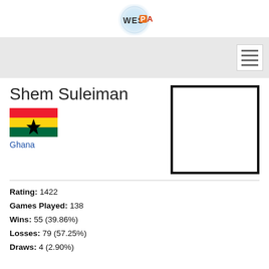WESPA
Shem Suleiman
Ghana
[Figure (photo): Empty white photo placeholder box with thick black border]
Rating: 1422
Games Played: 138
Wins: 55 (39.86%)
Losses: 79 (57.25%)
Draws: 4 (2.90%)